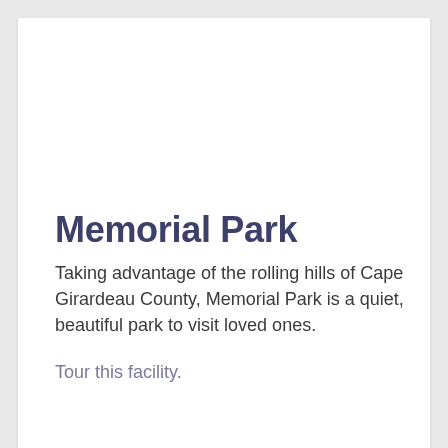Memorial Park
Taking advantage of the rolling hills of Cape Girardeau County, Memorial Park is a quiet, beautiful park to visit loved ones.
Tour this facility.